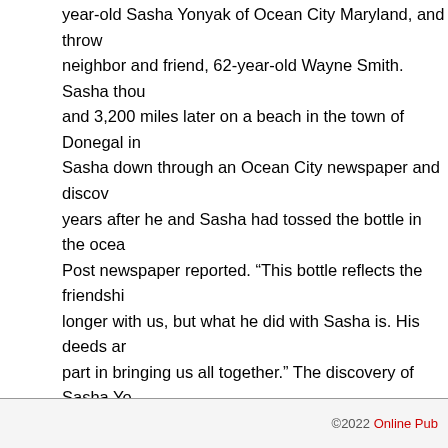year-old Sasha Yonyak of Ocean City Maryland, and thrown neighbor and friend, 62-year-old Wayne Smith. Sasha though and 3,200 miles later on a beach in the town of Donegal in I Sasha down through an Ocean City newspaper and discove years after he and Sasha had tossed the bottle in the ocean Post newspaper reported. “This bottle reflects the friendship longer with us, but what he did with Sasha is. His deeds are part in bringing us all together.” The discovery of Sasha Yon losing his friend and neighbor Wayne Smith. It brought back him to new caring people. In the newspaper or online, find a Use what you read to write a letter to a friend outlining thing
Common Core State Standards: Producing clear and cohere appropriate to the task; reading closely what written and visu
©2022 Online Pub